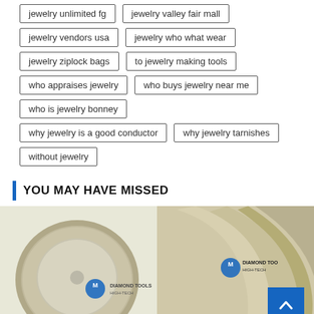jewelry unlimited fg
jewelry valley fair mall
jewelry vendors usa
jewelry who what wear
jewelry ziplock bags
to jewelry making tools
who appraises jewelry
who buys jewelry near me
who is jewelry bonney
why jewelry is a good conductor
why jewelry tarnishes
without jewelry
YOU MAY HAVE MISSED
[Figure (photo): Two diamond tool grinding wheels with 'Diamond Tools High-Tech' branding logo. Left image shows a full round disc wheel viewed from the front. Right image shows a close-up edge view of a similar wheel.]